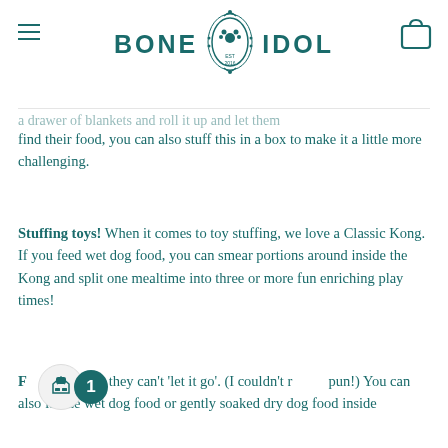BONE IDOL — navigation header with logo, menu icon, and cart icon
a drawer of blankets and roll it up and let them find their food, you can also stuff this in a box to make it a little more challenging.
Stuffing toys! When it comes to toy stuffing, we love a Classic Kong. If you feed wet dog food, you can smear portions around inside the Kong and split one mealtime into three or more fun enriching play times!
F[obscured]n[obscured] fun they can't 'let it go'. (I couldn't r[obscured] pun!) You can also freeze wet dog food or gently soaked dry dog food inside